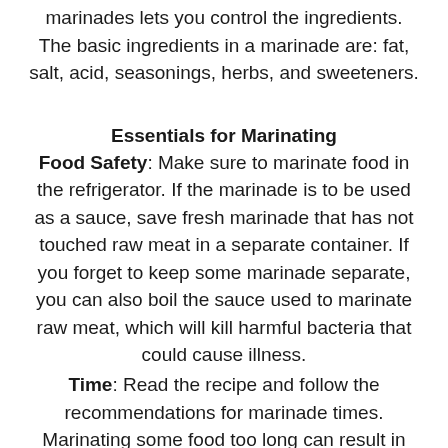marinades lets you control the ingredients. The basic ingredients in a marinade are: fat, salt, acid, seasonings, herbs, and sweeteners.
Essentials for Marinating
Food Safety: Make sure to marinate food in the refrigerator. If the marinade is to be used as a sauce, save fresh marinade that has not touched raw meat in a separate container. If you forget to keep some marinade separate, you can also boil the sauce used to marinate raw meat, which will kill harmful bacteria that could cause illness.
Time: Read the recipe and follow the recommendations for marinade times. Marinating some food too long can result in tough, dry or poor texture. Meat can be marinated for anything from 15